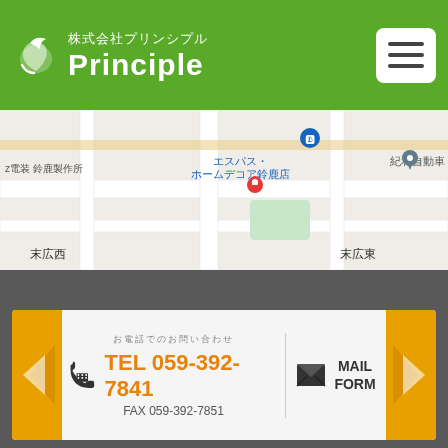株式会社プリンシプル Principle
[Figure (map): Google Maps screenshot showing area around エスパス・ホームデコア鈴鹿店, with labels: z電装 鈴鹿製作所, エスパス・ホームデコア鈴鹿店, 紀和自動車, 末広西, 末広東]
TEL 059-392-7841
FAX 059-392-7851
MAIL FORM